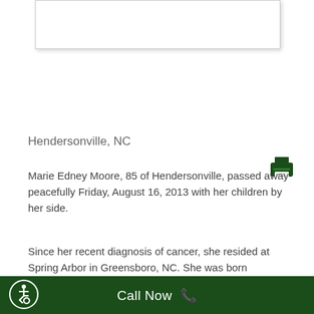[Figure (photo): White rectangular image placeholder with border and shadow at top of page]
[Figure (other): Dark green printer icon in top right area]
Hendersonville, NC
Marie Edney Moore, 85 of Hendersonville, passed away peacefully Friday, August 16, 2013 with her children by her side.
Since her recent diagnosis of cancer, she resided at Spring Arbor in Greensboro, NC. She was born September 16, 1927 to the late Hester and Clarence Edney; she was preceded
Call Now